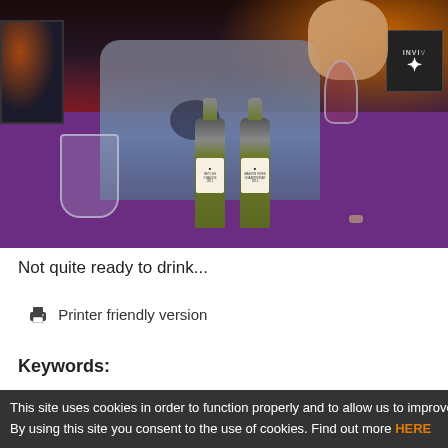[Figure (photo): Photo of two green wine bottles and an empty glass on a purple tablecloth, with a person in jeans kneeling behind them. There is a screen on the left and a logo sign on the upper right.]
Not quite ready to drink...
🖨 Printer friendly version
Keywords:
This site uses cookies in order to function properly and to allow us to improve our s By using this site you consent to the use of cookies. Find out more HERE